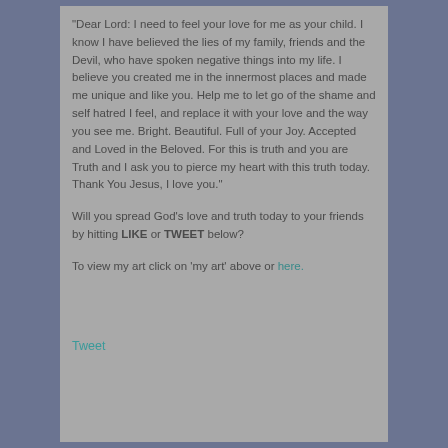“Dear Lord:  I need to feel your love for me as your child.  I know I have believed the lies of my family, friends and the Devil, who have spoken negative things into my life.  I believe you created me in the innermost places and made me unique and like you.  Help me to let go of the shame and self hatred I feel, and replace it with your love and the way you see me.  Bright. Beautiful. Full of your Joy.  Accepted and Loved in the Beloved.  For this is truth and you are Truth and I ask you to pierce my heart with this truth today.  Thank You Jesus, I love you.”
Will you spread God’s love and truth today to your friends by hitting LIKE or TWEET below?
To view my art click on ‘my art’ above or here.
Tweet